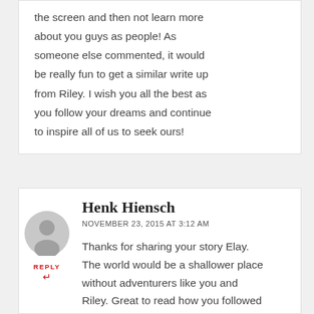the screen and then not learn more about you guys as people! As someone else commented, it would be really fun to get a similar write up from Riley. I wish you all the best as you follow your dreams and continue to inspire all of us to seek ours!
Henk Hiensch
NOVEMBER 23, 2015 AT 3:12 AM
Thanks for sharing your story Elay. The world would be a shallower place without adventurers like you and Riley. Great to read how you followed